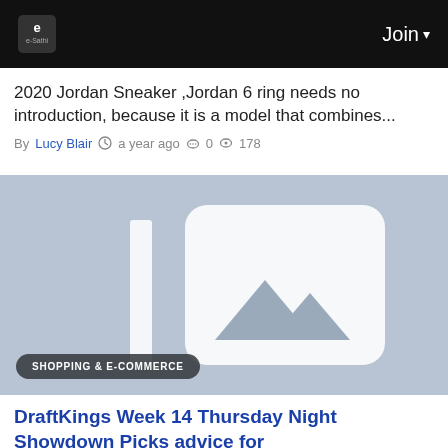e-Sathi | Join
2020 Jordan Sneaker ,Jordan 6 ring needs no introduction, because it is a model that combines...
By Lucy Blair  a year ago  0  178
[Figure (photo): Placeholder image with mountain/landscape icon on grey background, with SHOPPING & E-COMMERCE badge]
DraftKings Week 14 Thursday Night Showdown Picks advice for